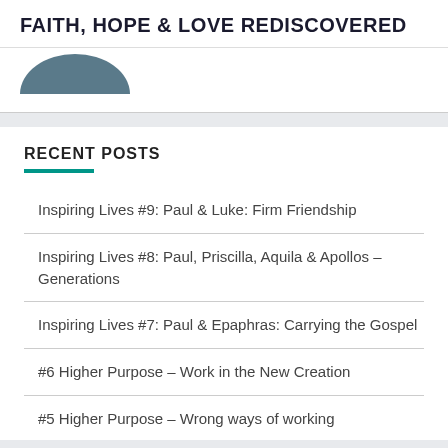FAITH, HOPE & LOVE REDISCOVERED
[Figure (illustration): Partial circular profile image in dark teal/slate color at the top of a sidebar card]
RECENT POSTS
Inspiring Lives #9: Paul & Luke: Firm Friendship
Inspiring Lives #8: Paul, Priscilla, Aquila & Apollos – Generations
Inspiring Lives #7: Paul & Epaphras: Carrying the Gospel
#6 Higher Purpose – Work in the New Creation
#5 Higher Purpose – Wrong ways of working